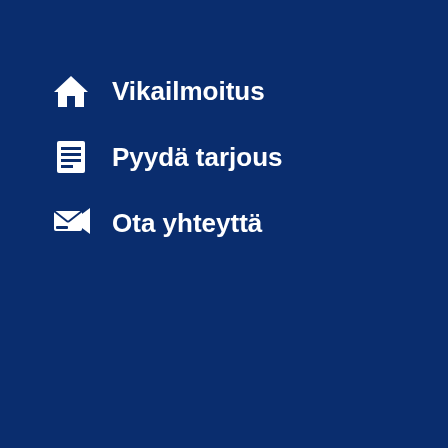Vikailmoitus
Pyydä tarjous
Ota yhteyttä